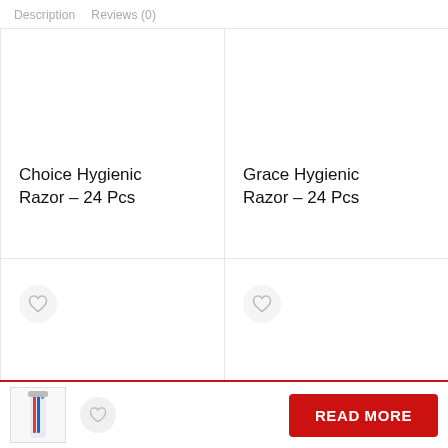Description   Reviews (0)
[Figure (screenshot): Product grid showing two product cards in top row and two product cards (bottom row with heart/wishlist icons) for hygienic razors]
Choice Hygienic Razor – 24 Pcs
Grace Hygienic Razor – 24 Pcs
READ MORE